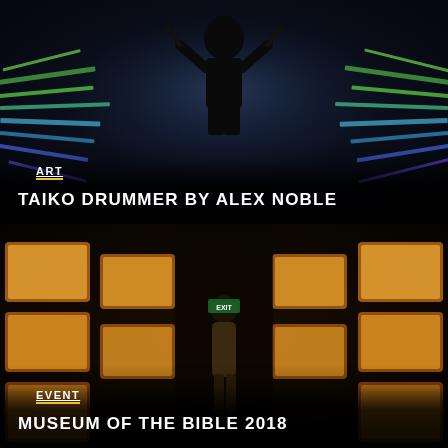[Figure (photo): A shirtless taiko drummer seen from behind, performing in a dark environment with colorful blue and green light streaks radiating outward on side screens.]
ART
TAIKO DRUMMER BY ALEX NOBLE
[Figure (photo): A museum corridor lined with illuminated golden-orange framed images forming an arched tunnel, with a person in khaki shorts walking through the passage.]
EVENT
MUSEUM OF THE BIBLE 2018